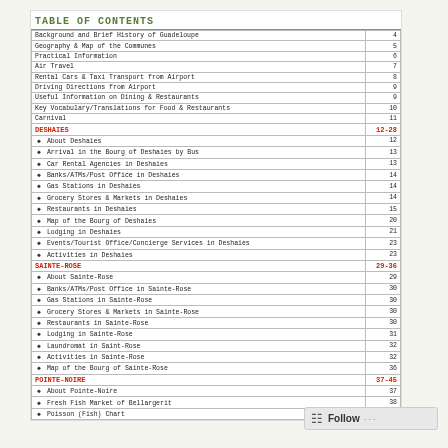TABLE OF CONTENTS
| Topic | Page |
| --- | --- |
| Background and Brief History of Guadeloupe | 4 |
| Geography & Map of the Communes | 5 |
| Practical Information | 6 |
| Air Travel | 7 |
| Rental Cars & Taxi Transport from Airport | 8 |
| Driving Directions from Airport | 9 |
| Useful Information on Dining & Restaurants | 9 |
| Key Vocabulary/Translations for Food & Restaurants | 10 |
| Carnival | 11 |
| DESHAIES | 12-28 |
| • About Deshaies | 12 |
| • Arrival in the Bourg of Deshaies by Bus | 13 |
| • Car Rental Agencies in Deshaies | 13 |
| • Banks/ATMs/Post Office in Deshaies | 14 |
| • Gas Stations in Deshaies | 14 |
| • Grocery Stores & Markets in Deshaies | 14 |
| • Restaurants in Deshaies | 15 |
| • Map of the Bourg of Deshaies | 20 |
| • Lodging in Deshaies | 21 |
| • Events/Tourist Office/Concierge Services in Deshaies | 23 |
| • Activities in Deshaies | 23 |
| SAINTE-ROSE | 29-36 |
| • About Sainte-Rose | 29 |
| • Banks/ATMs/Post Office in Sainte-Rose | 30 |
| • Gas Stations in Sainte-Rose | 30 |
| • Grocery Stores & Markets in Sainte-Rose | 30 |
| • Restaurants in Sainte-Rose | 30 |
| • Lodging in Sainte-Rose | 31 |
| • Laundromat in Saint-Rose | 32 |
| • Activities in Sainte-Rose | 32 |
| • Map of the Bourg of Sainte-Rose | 36 |
| POINTE-NOIRE | 37-45 |
| • About Pointe-Noire | 37 |
| • Fresh Fish Market of Bellargerit | 38 |
| • Poisson (Fish) Chart | 39 |